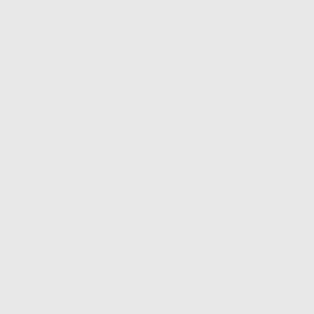(VIDEO) Ross University Executive Administrator...
[Figure (photo): Portrait photo of a man in a dark suit with a red and blue striped tie, wearing glasses, outdoors]
his previous role as dir... oversee administration... Program (MERP), said... administrative manage... Freeport. He will ensu... program are sustained...
[ Read More... ]
Ross University
New session underway...
9:52:17 PM
[Figure (photo): Partial photo of a room interior, bottom of page]